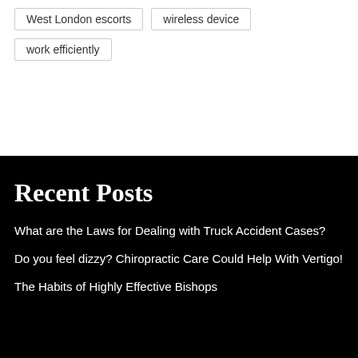West London escorts
wireless device
work efficiently
Recent Posts
What are the Laws for Dealing with Truck Accident Cases?
Do you feel dizzy? Chiropractic Care Could Help With Vertigo!
The Habits of Highly Effective Bishops